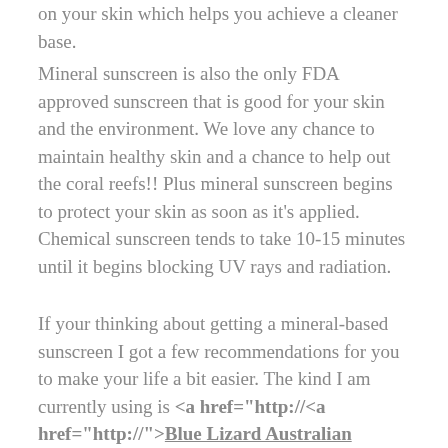on your skin which helps you achieve a cleaner base.
Mineral sunscreen is also the only FDA approved sunscreen that is good for your skin and the environment. We love any chance to maintain healthy skin and a chance to help out the coral reefs!! Plus mineral sunscreen begins to protect your skin as soon as it’s applied. Chemical sunscreen tends to take 10-15 minutes until it begins blocking UV rays and radiation.
If your thinking about getting a mineral-based sunscreen I got a few recommendations for you to make your life a bit easier. The kind I am currently using is <a href="http://<a href="http://">Blue Lizard Australian Sunscreen. What I love about this